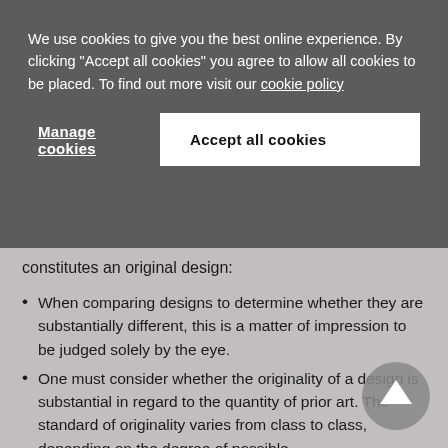We use cookies to give you the best online experience. By clicking "Accept all cookies" you agree to allow all cookies to be placed. To find out more visit our cookie policy
Manage cookies
Accept all cookies
constitutes an original design:
When comparing designs to determine whether they are substantially different, this is a matter of impression to be judged solely by the eye.
One must consider whether the originality of a design is substantial in regard to the quantity of prior art. The standard of originality varies from class to class, depending on the degree of possible